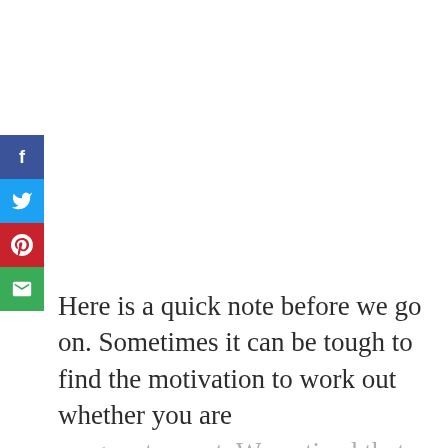[Figure (infographic): Social media share sidebar with four buttons: Facebook (dark blue, f icon), Twitter (light blue, bird icon), Pinterest (red, p icon), Email (green, envelope icon)]
Here is a quick note before we go on. Sometimes it can be tough to find the motivation to work out whether you are pregnant or not. We noticed that we feel more inspired when we have cool workout